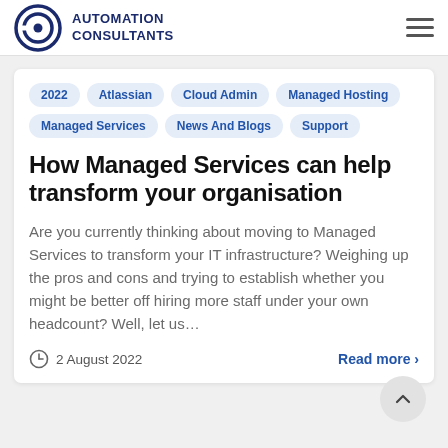AUTOMATION CONSULTANTS
2022
Atlassian
Cloud Admin
Managed Hosting
Managed Services
News And Blogs
Support
How Managed Services can help transform your organisation
Are you currently thinking about moving to Managed Services to transform your IT infrastructure? Weighing up the pros and cons and trying to establish whether you might be better off hiring more staff under your own headcount? Well, let us...
2 August 2022
Read more